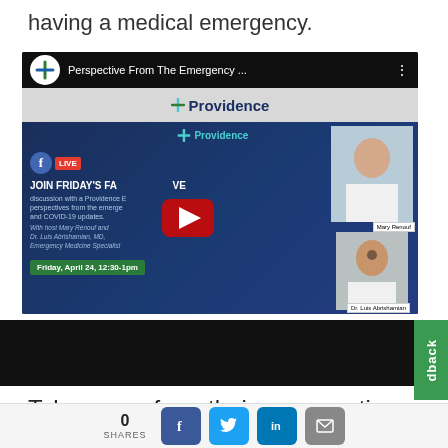having a medical emergency.
[Figure (screenshot): YouTube video thumbnail for a Providence Facebook Live event titled 'Perspective From The Emergency...' featuring Mary Renouf and Dr. Luis Abrishamian, MD, Emergency Medicine Specialist. Event date: Friday, April 24, 12:30-1pm. Shows Providence logo, Facebook Live badge, and a red YouTube play button.]
Takeaways from their conversation:
0 SHARES